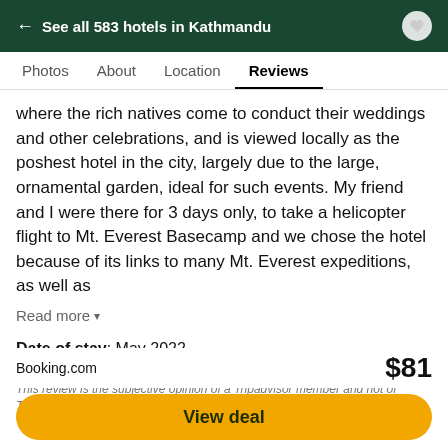← See all 583 hotels in Kathmandu
Photos  About  Location  Reviews
where the rich natives come to conduct their weddings and other celebrations, and is viewed locally as the poshest hotel in the city, largely due to the large, ornamental garden, ideal for such events. My friend and I were there for 3 days only, to take a helicopter flight to Mt. Everest Basecamp and we chose the hotel because of its links to many Mt. Everest expeditions, as well as
Read more ▾
Date of stay: May 2022
This review is the subjective opinion of a Tripadvisor member and not of Tripadvisor LLC. Tripadvisor performs checks on reviews.
Booking.com   $81
View deal